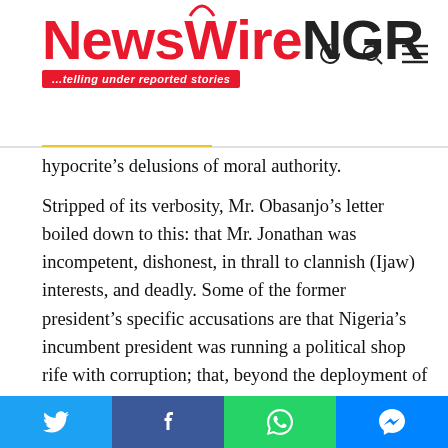NewsWireNGR ...telling under reported stories
hypocrite’s delusions of moral authority.
Stripped of its verbosity, Mr. Obasanjo’s letter boiled down to this: that Mr. Jonathan was incompetent, dishonest, in thrall to clannish (Ijaw) interests, and deadly. Some of the former president’s specific accusations are that Nigeria’s incumbent president was running a political shop rife with corruption; that, beyond the deployment of troops, Mr. Jonathan had failed to come up with a broad plan for containing the festering scourge of Boko Haram terrorism; that Mr. Jonathan was trying to sidestep an ostensible pact not to seek a second term as president; that, in pursuit of said second term, Mr. Jonathan had kindled the embers of Ijaw militancy and groomed killer squads to take out perceived and real enemies; that Mr. Jonathan, though propelled into office by the Peoples Democratic
Social share buttons: Twitter, Facebook, WhatsApp, Messenger